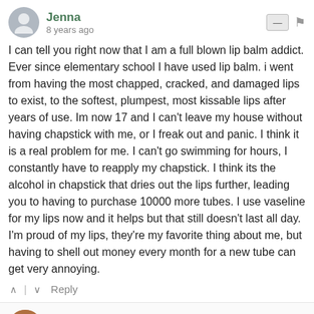Jenna
8 years ago
I can tell you right now that I am a full blown lip balm addict. Ever since elementary school I have used lip balm. i went from having the most chapped, cracked, and damaged lips to exist, to the softest, plumpest, most kissable lips after years of use. Im now 17 and I can't leave my house without having chapstick with me, or I freak out and panic. I think it is a real problem for me. I can't go swimming for hours, I constantly have to reapply my chapstick. I think its the alcohol in chapstick that dries out the lips further, leading you to having to purchase 10000 more tubes. I use vaseline for my lips now and it helps but that still doesn't last all day. I'm proud of my lips, they're my favorite thing about me, but having to shell out money every month for a new tube can get very annoying.
Reply
Lorraine @ Formula Botanica
Jenna
8 years ago edited
@Jenna, it's worth trying to go without for a little while to let your lips adjust - eventually you wean yourself off the